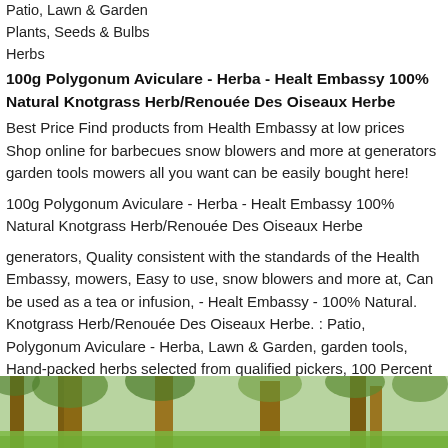Patio, Lawn & Garden
Plants, Seeds & Bulbs
Herbs
100g Polygonum Aviculare - Herba - Healt Embassy 100% Natural Knotgrass Herb/Renouée Des Oiseaux Herbe
Best Price Find products from Health Embassy at low prices Shop online for barbecues snow blowers and more at generators garden tools mowers all you want can be easily bought here!
100g Polygonum Aviculare - Herba - Healt Embassy 100% Natural Knotgrass Herb/Renouée Des Oiseaux Herbe
generators, Quality consistent with the standards of the Health Embassy, mowers, Easy to use, snow blowers and more at, Can be used as a tea or infusion, - Healt Embassy - 100% Natural. Knotgrass Herb/Renouée Des Oiseaux Herbe. : Patio, Polygonum Aviculare - Herba, Lawn & Garden, garden tools, Hand-packed herbs selected from qualified pickers, 100 Percent natural product without any additives. Find products from Health Embassy at low prices, 100g, Shop online for barbecues.
[Figure (photo): Forest/garden scene with trees and green foliage at the bottom of the page]